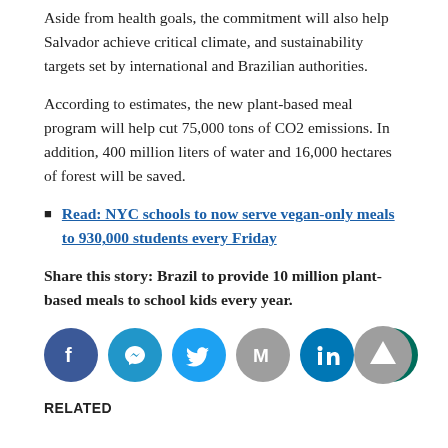Aside from health goals, the commitment will also help Salvador achieve critical climate, and sustainability targets set by international and Brazilian authorities.
According to estimates, the new plant-based meal program will help cut 75,000 tons of CO2 emissions. In addition, 400 million liters of water and 16,000 hectares of forest will be saved.
Read: NYC schools to now serve vegan-only meals to 930,000 students every Friday
Share this story: Brazil to provide 10 million plant-based meals to school kids every year.
[Figure (infographic): Social media share buttons: Facebook, Messenger, Twitter, Gmail, LinkedIn, WhatsApp, and a scroll-to-top button]
RELATED